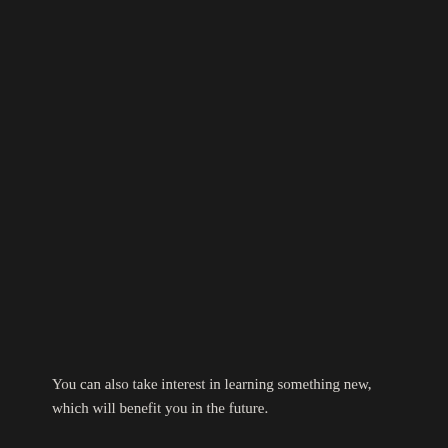You can also take interest in learning something new, which will benefit you in the future.